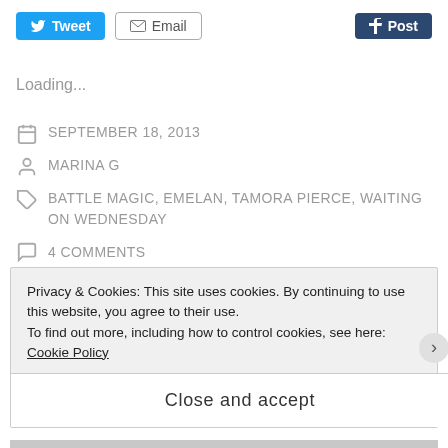[Figure (other): Social sharing buttons: Tweet (blue), Email (outlined), Post (dark blue/Tumblr)]
Loading...
SEPTEMBER 18, 2013
MARINA G
BATTLE MAGIC, EMELAN, TAMORA PIERCE, WAITING ON WEDNESDAY
4 COMMENTS
Privacy & Cookies: This site uses cookies. By continuing to use this website, you agree to their use.
To find out more, including how to control cookies, see here: Cookie Policy
Close and accept